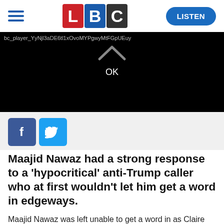[Figure (logo): LBC radio logo with red L, blue B, dark C on white background]
[Figure (screenshot): Black video player area with ID string bc_player_YyNjl3aDE6tl1xOvoMYPgwyMtFGpUEuy and OK button]
[Figure (other): Facebook and Twitter social share buttons]
Maajid Nawaz had a strong response to a 'hypocritical' anti-Trump caller who at first wouldn't let him get a word in edgeways.
Maajid Nawaz was left unable to get a word in as Claire unloaded her opinion on Donald Trump's state visit, but when she said that everybody should take a stance against